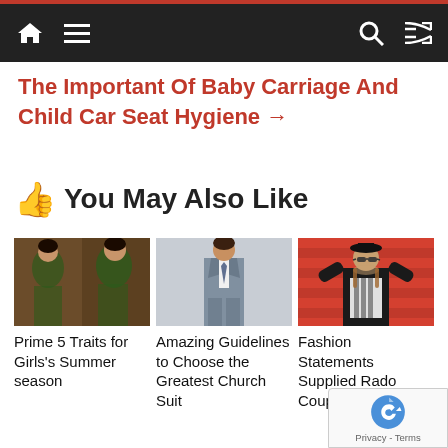Navigation bar with home, menu, search, and shuffle icons
The Important Of Baby Carriage And Child Car Seat Hygiene →
👍 You May Also Like
[Figure (photo): Photo of two women in Indian saree dresses (green floral)]
Prime 5 Traits for Girls's Summer season
[Figure (photo): Photo of a man in a grey church suit]
Amazing Guidelines to Choose the Greatest Church Suit
[Figure (photo): Photo of a fashionable woman with sunglasses against red background]
Fashion Statements Supplied Rado Coupole